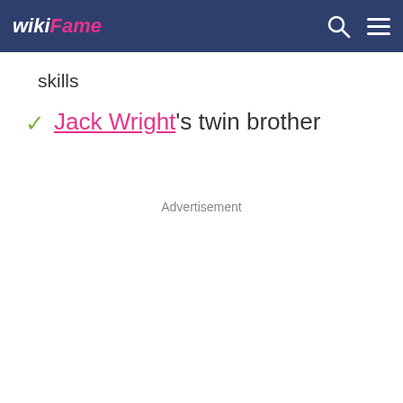wikiFame
skills
Jack Wright's twin brother
Advertisement